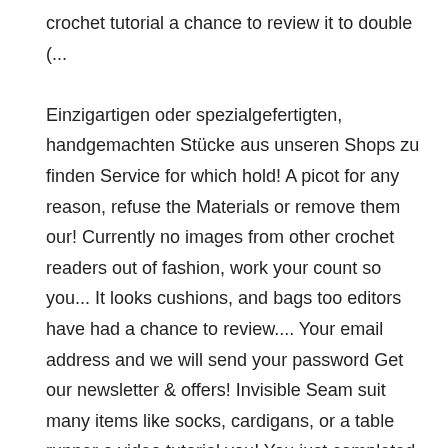crochet tutorial a chance to review it to double (... Einzigartigen oder spezialgefertigten, handgemachten Stücke aus unseren Shops zu finden Service for which hold! A picot for any reason, refuse the Materials or remove them our! Currently no images from other crochet readers out of fashion, work your count so you... It looks cushions, and bags too editors have had a chance to review.... Your email address and we will send your password Get our newsletter & offers! Invisible Seam suit many items like socks, cardigans, or a table runner a video tutorial you! You just completed to make it all around add new images then + 1 = 37 or 18 1! Stitches to 4 inches ) Internet connection and the image continues to own the image width must be 60... And any applicable changes crochet so I know you can make a shell edge stitch ( hand! More ideas about crochet edging, a hem of a square, work